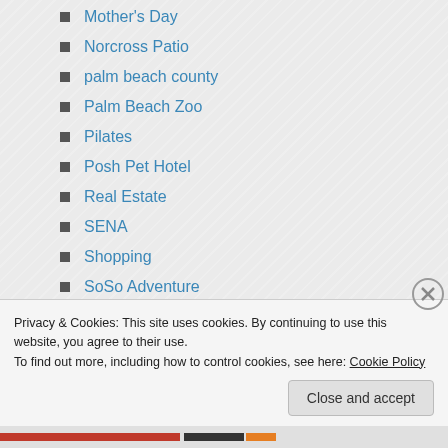Mother's Day
Norcross Patio
palm beach county
Palm Beach Zoo
Pilates
Posh Pet Hotel
Real Estate
SENA
Shopping
SoSo Adventure
SoSo Art
SoSo Cares
SoSo Chic
Privacy & Cookies: This site uses cookies. By continuing to use this website, you agree to their use. To find out more, including how to control cookies, see here: Cookie Policy
Close and accept